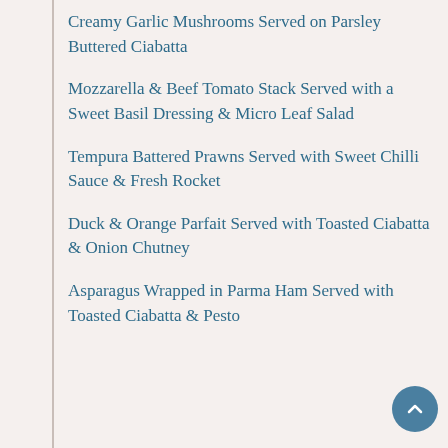Creamy Garlic Mushrooms Served on Parsley Buttered Ciabatta
Mozzarella & Beef Tomato Stack Served with a Sweet Basil Dressing & Micro Leaf Salad
Tempura Battered Prawns Served with Sweet Chilli Sauce & Fresh Rocket
Duck & Orange Parfait Served with Toasted Ciabatta & Onion Chutney
Asparagus Wrapped in Parma Ham Served with Toasted Ciabatta & Pesto